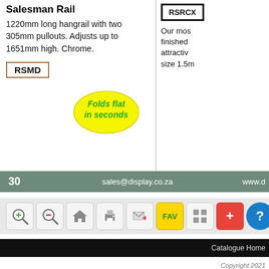Salesman Rail
1220mm long hangrail with two 305mm pullouts. Adjusts up to 1651mm high. Chrome.
RSMD
[Figure (other): Yellow oval sticker with green italic text reading 'Folds flat in seconds']
RSRCX
Our mos finished attractiv size 1.5m
30   sales@display.co.za   www.d
[Figure (screenshot): Toolbar with zoom in, zoom out, home, print, email, FAV, grid, add, help buttons]
Catalogue Home
Copyright 2021